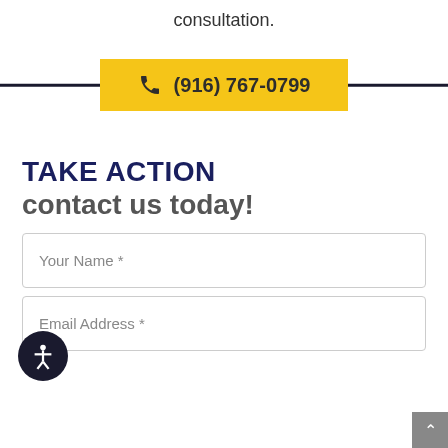consultation.
[Figure (other): Yellow phone button with phone icon and number (916) 767-0799 on a dark horizontal line background]
TAKE ACTION contact us today!
Your Name *
Email Address *
Phone Number *